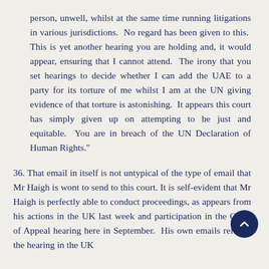person, unwell, whilst at the same time running litigations in various jurisdictions.  No regard has been given to this.  This is yet another hearing you are holding and, it would appear, ensuring that I cannot attend.  The irony that you set hearings to decide whether I can add the UAE to a party for its torture of me whilst I am at the UN giving evidence of that torture is astonishing.  It appears this court has simply given up on attempting to be just and equitable.  You are in breach of the UN Declaration of Human Rights."
36. That email in itself is not untypical of the type of email that Mr Haigh is wont to send to this court. It is self-evident that Mr Haigh is perfectly able to conduct proceedings, as appears from his actions in the UK last week and participation in the Court of Appeal hearing here in September.  His own emails refer to the hearing in the UK